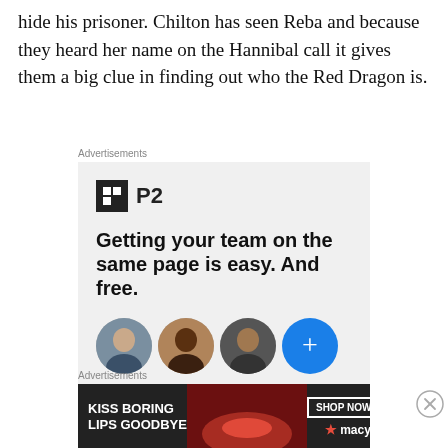hide his prisoner. Chilton has seen Reba and because they heard her name on the Hannibal call it gives them a big clue in finding out who the Red Dragon is.
[Figure (other): Advertisement for P2 product. Shows P2 logo, bold headline 'Getting your team on the same page is easy. And free.' with three circular profile photo avatars and a blue circle with a plus sign.]
[Figure (other): Advertisement for Macy's lipstick. Text reads 'KISS BORING LIPS GOODBYE' with a 'SHOP NOW' button and Macy's star logo, showing a woman's face with red lips.]